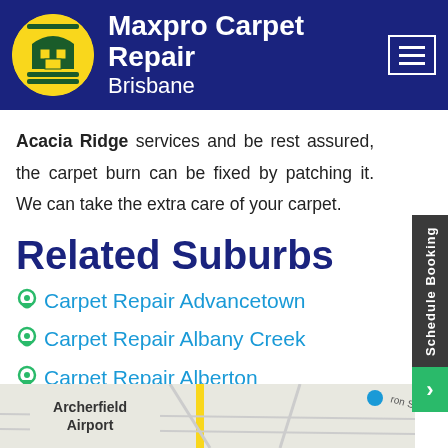Maxpro Carpet Repair Brisbane
Acacia Ridge services and be rest assured, the carpet burn can be fixed by patching it. We can take the extra care of your carpet.
Related Suburbs
Carpet Repair Advancetown
Carpet Repair Albany Creek
Carpet Repair Alberton
Carpet Repair Albion
[Figure (map): Street map showing Archerfield Airport area in Brisbane]